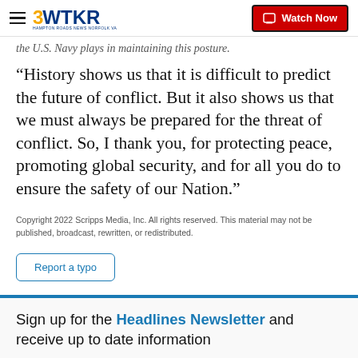3WTKR | Watch Now
the U.S. Navy plays in maintaining this posture.
“History shows us that it is difficult to predict the future of conflict. But it also shows us that we must always be prepared for the threat of conflict. So, I thank you, for protecting peace, promoting global security, and for all you do to ensure the safety of our Nation.”
Copyright 2022 Scripps Media, Inc. All rights reserved. This material may not be published, broadcast, rewritten, or redistributed.
Report a typo
Sign up for the Headlines Newsletter and receive up to date information